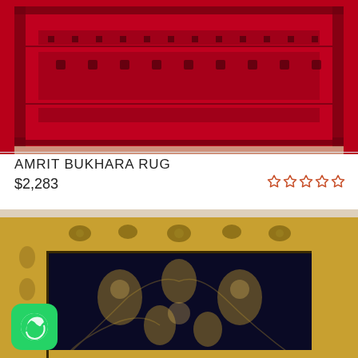[Figure (photo): Red Bukhara rug with geometric patterns and dark border, photographed from above showing full rug surface with fringe at bottom]
AMRIT BUKHARA RUG
$2,283
[Figure (other): Five empty star rating icons in red/orange outline]
[Figure (photo): Dark navy/black floral oriental rug with golden/yellow border featuring intricate floral and vine patterns. WhatsApp icon visible in bottom left corner.]